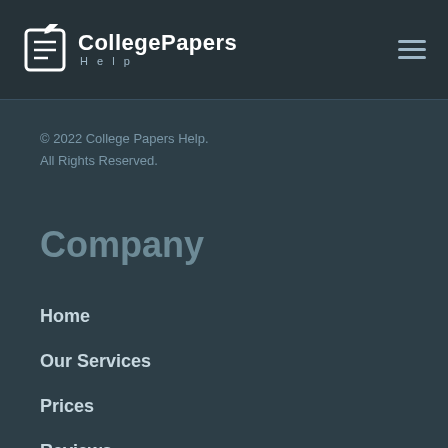[Figure (logo): CollegePapers Help logo with pencil/document icon]
© 2022 College Papers Help. All Rights Reserved.
Company
Home
Our Services
Prices
Reviews
About Us
FAQs